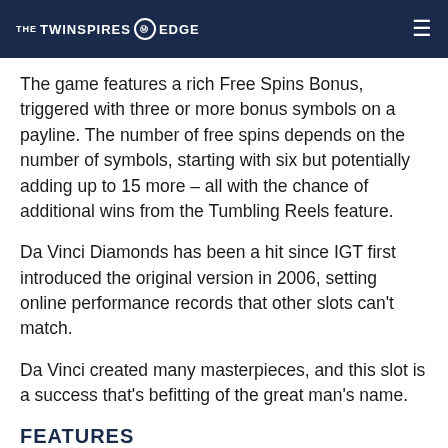THE TWINSPIRES EDGE
The game features a rich Free Spins Bonus, triggered with three or more bonus symbols on a payline. The number of free spins depends on the number of symbols, starting with six but potentially adding up to 15 more – all with the chance of additional wins from the Tumbling Reels feature.
Da Vinci Diamonds has been a hit since IGT first introduced the original version in 2006, setting online performance records that other slots can't match.
Da Vinci created many masterpieces, and this slot is a success that's befitting of the great man's name.
FEATURES